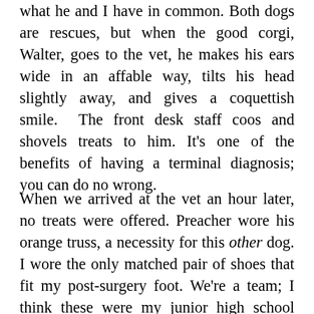the other dog. Preacher. That is the other. what he and I have in common. Both dogs are rescues, but when the good corgi, Walter, goes to the vet, he makes his ears wide in an affable way, tilts his head slightly away, and gives a coquettish smile.  The front desk staff coos and shovels treats to him. It's one of the benefits of having a terminal diagnosis; you can do no wrong.
When we arrived at the vet an hour later, no treats were offered. Preacher wore his orange truss, a necessity for this other dog. I wore the only matched pair of shoes that fit my post-surgery foot. We're a team; I think these were my junior high school colors. Then someone came in with a German shepherd–off leash. How is it that people confuse the waiting area for a dog park? From the rage that started to